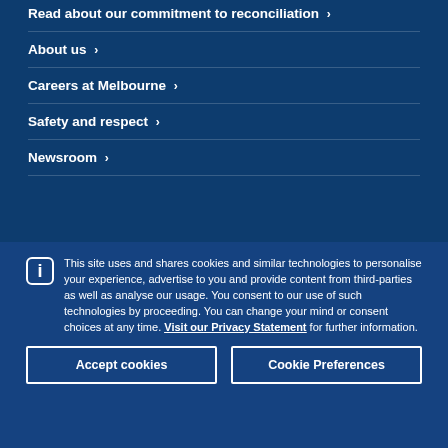Read about our commitment to reconciliation >
About us >
Careers at Melbourne >
Safety and respect >
Newsroom >
This site uses and shares cookies and similar technologies to personalise your experience, advertise to you and provide content from third-parties as well as analyse our usage. You consent to our use of such technologies by proceeding. You can change your mind or consent choices at any time. Visit our Privacy Statement for further information.
Accept cookies
Cookie Preferences